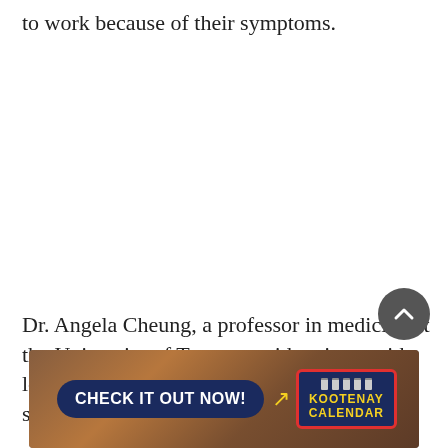to work because of their symptoms.
Dr. Angela Cheung, a professor in medicine at the University of Toronto, said patients with long COVID are presenting with over 200 symptoms.
[Figure (other): Advertisement banner for Kootenay Calendar with dark blue 'CHECK IT OUT NOW!' button, a yellow swirl arrow, and a red-bordered Kootenay Calendar logo box, over a concert crowd background.]